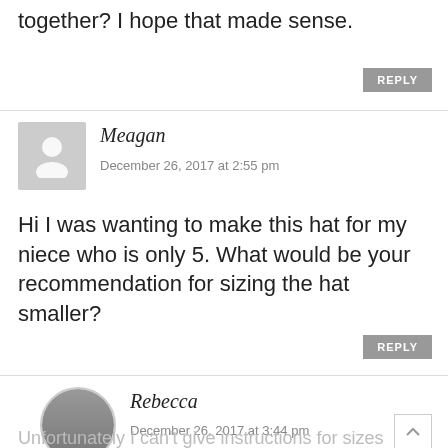together? I hope that made sense.
REPLY
Meagan
December 26, 2017 at 2:55 pm
Hi I was wanting to make this hat for my niece who is only 5. What would be your recommendation for sizing the hat smaller?
REPLY
Rebecca
December 26, 2017 at 3:44 pm
Unfortunately I can't give instructions for sizes